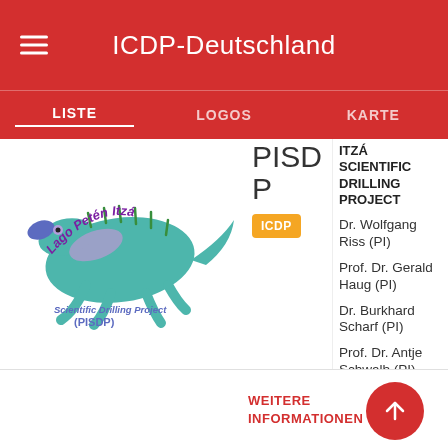ICDP-Deutschland
LISTE  LOGOS  KARTE
[Figure (logo): Lago Petén Itzá Scientific Drilling Project (PISDP) logo with stylized lizard/iguana in teal/purple colors]
PISD P
ICDP
ITZÁ SCIENTIFIC DRILLING PROJECT
Dr. Wolfgang Riss (PI)
Prof. Dr. Gerald Haug (PI)
Dr. Burkhard Scharf (PI)
Prof. Dr. Antje Schwalb (PI)
WEITERE INFORMATIONEN